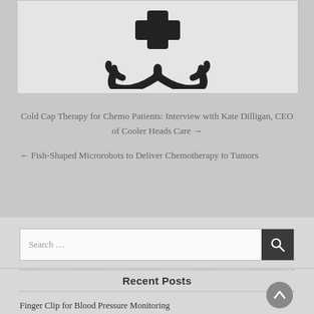[Figure (illustration): Partial view of an icon showing two hands cradling/holding a medical cross symbol, black icon on light grey background]
Cold Cap Therapy for Chemo Patients: Interview with Kate Dilligan, CEO of Cooler Heads Care →
← Fish-Shaped Microrobots to Deliver Chemotherapy to Tumors
Search …
Recent Posts
Finger Clip for Blood Pressure Monitoring
Pop-Up Sensors Measure Electronic Signals in Cardiac Cells